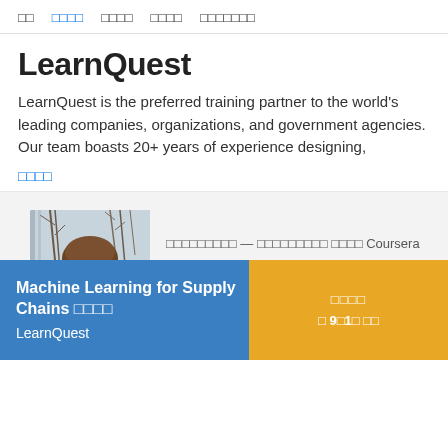□□  □□□□  □□□□  □□□□  □□□□□□□
LearnQuest
LearnQuest is the preferred training partner to the world's leading companies, organizations, and government agencies. Our team boasts 20+ years of experience designing,
□□□□
[Figure (photo): Photo of a woman with brown hair outdoors with trees in background, alongside text in non-Latin script mentioning Coursera]
Machine Learning for Supply Chains □□□□
LearnQuest
□□□□
□ 9□1□ □□